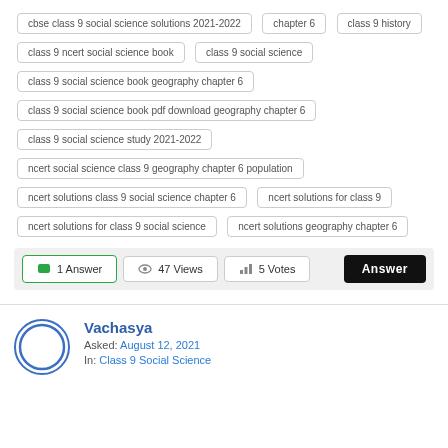cbse class 9 social science solutions 2021-2022
chapter 6
class 9 history
class 9 ncert social science book
class 9 social science
class 9 social science book geography chapter 6
class 9 social science book pdf download geography chapter 6
class 9 social science study 2021-2022
ncert social science class 9 geography chapter 6 population
ncert solutions class 9 social science chapter 6
ncert solutions for class 9
ncert solutions for class 9 social science
ncert solutions geography chapter 6
1 Answer  47 Views  5 Votes  Answer
Vachasya
Asked: August 12, 2021
In: Class 9 Social Science